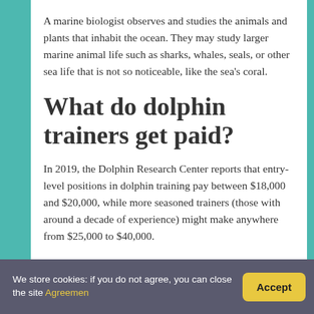A marine biologist observes and studies the animals and plants that inhabit the ocean. They may study larger marine animal life such as sharks, whales, seals, or other sea life that is not so noticeable, like the sea's coral.
What do dolphin trainers get paid?
In 2019, the Dolphin Research Center reports that entry-level positions in dolphin training pay between $18,000 and $20,000, while more seasoned trainers (those with around a decade of experience) might make anywhere from $25,000 to $40,000.
We store cookies: if you do not agree, you can close the site Agreement